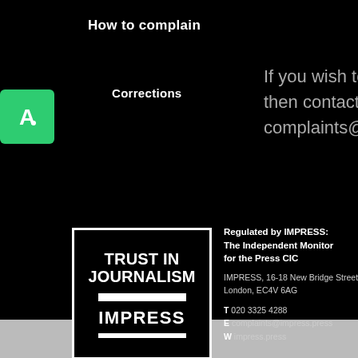How to complain
Corrections
If you wish to make a complaint then contact complaints@gedlingeye.co.u
[Figure (logo): Green square with white letter A logo]
[Figure (logo): IMPRESS Trust in Journalism logo - black and white rectangular badge]
Regulated by IMPRESS: The Independent Monitor for the Press CIC
IMPRESS, 16-18 New Bridge Street, London, EC4V 6AG
T 020 3325 4288
E complaints@impress.press
W impress.press